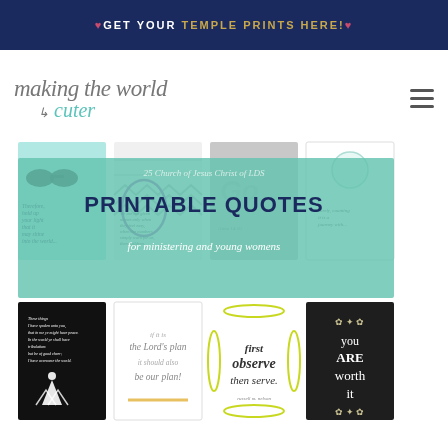♥GET YOUR TEMPLE PRINTS HERE!♥
making the world cuter
[Figure (infographic): Blog post promotional image showing 'Printable Quotes for Ministering and Young Womens' with a teal/green translucent overlay over a collage of printable quote cards including 'Therefore hold up your light that it may shine into the world', 'you are worth it', 'First observe then serve', 'it is the Lord's plan it should also be our plan', and others.]